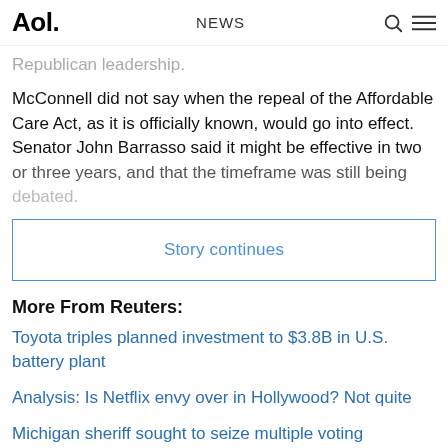Aol. | NEWS
Republican leadership.
McConnell did not say when the repeal of the Affordable Care Act, as it is officially known, would go into effect. Senator John Barrasso said it might be effective in two or three years, and that the timeframe was still being debated.
Story continues
More From Reuters:
Toyota triples planned investment to $3.8B in U.S. battery plant
Analysis: Is Netflix envy over in Hollywood? Not quite
Michigan sheriff sought to seize multiple voting machines, records show